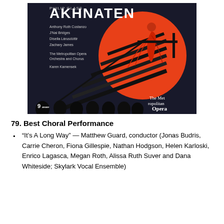[Figure (illustration): Album cover for 'Akhnaten' by Philip Glass featuring The Metropolitan Opera Orchestra and Chorus conducted by Karen Kamensek. Dark background with large orange/red circle, silhouettes of figures at the bottom, a staircase with a dramatic red-costumed figure. Text lists performers: Anthony Roth Costanzo, J'Nai Bridges, Dísella Lárusdóttir, Zachary James. Logo of 9mm and The Metropolitan Opera visible.]
79. Best Choral Performance
“It’s A Long Way” — Matthew Guard, conductor (Jonas Budris, Carrie Cheron, Fiona Gillespie, Nathan Hodgson, Helen Karloski, Enrico Lagasca, Megan Roth, Alissa Ruth Suver and Dana Whiteside; Skylark Vocal Ensemble)